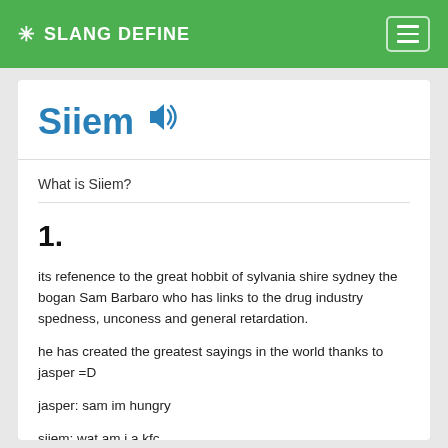✳ SLANG DEFINE
Siiem
What is Siiem?
1.
its refenence to the great hobbit of sylvania shire sydney the bogan Sam Barbaro who has links to the drug industry spedness, unconess and general retardation.
he has created the greatest sayings in the world thanks to jasper =D
jasper: sam im hungry
siiem: wat am i a kfc